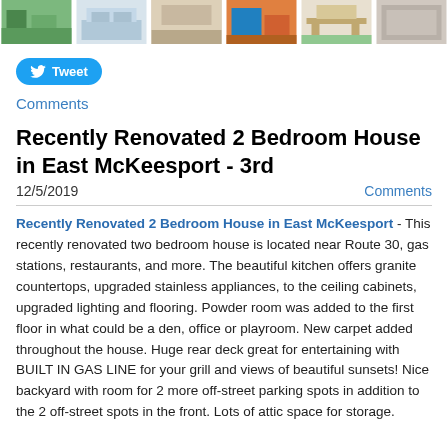[Figure (photo): Strip of 6 thumbnail photos of a house/rooms]
[Figure (other): Tweet button with Twitter bird icon]
Comments
Recently Renovated 2 Bedroom House in East McKeesport - 3rd
12/5/2019
Comments
Recently Renovated 2 Bedroom House in East McKeesport - This recently renovated two bedroom house is located near Route 30, gas stations, restaurants, and more. The beautiful kitchen offers granite countertops, upgraded stainless appliances, to the ceiling cabinets, upgraded lighting and flooring. Powder room was added to the first floor in what could be a den, office or playroom. New carpet added throughout the house. Huge rear deck great for entertaining with BUILT IN GAS LINE for your grill and views of beautiful sunsets! Nice backyard with room for 2 more off-street parking spots in addition to the 2 off-street spots in the front. Lots of attic space for storage.